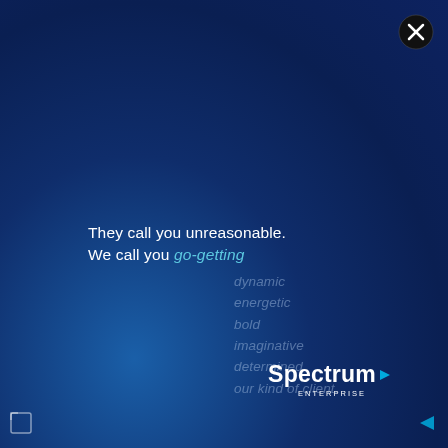[Figure (other): Close button X icon in top-right corner, dark circular button with white X]
They call you unreasonable.
We call you go-getting
dynamic
energetic
bold
imaginative
determined
our kind of client.
[Figure (logo): Spectrum Enterprise logo with white text and blue arrow mark]
[Figure (other): Small corner navigation icons at bottom-left and bottom-right]